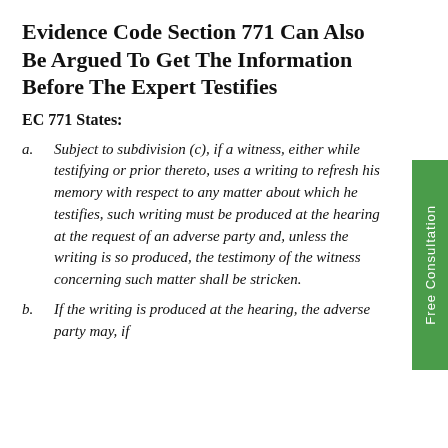Evidence Code Section 771 Can Also Be Argued To Get The Information Before The Expert Testifies
EC 771 States:
a. Subject to subdivision (c), if a witness, either while testifying or prior thereto, uses a writing to refresh his memory with respect to any matter about which he testifies, such writing must be produced at the hearing at the request of an adverse party and, unless the writing is so produced, the testimony of the witness concerning such matter shall be stricken.
b. If the writing is produced at the hearing, the adverse party may, if